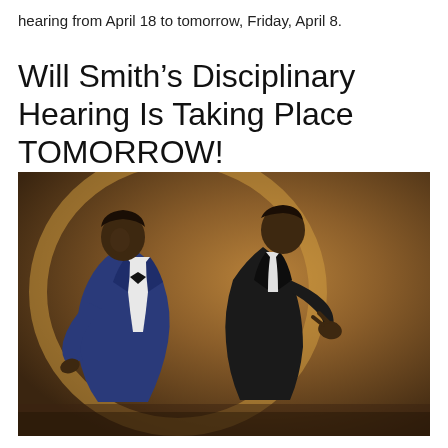hearing from April 18 to tomorrow, Friday, April 8.
Will Smith’s Disciplinary Hearing Is Taking Place TOMORROW!
[Figure (photo): Photo of Will Smith slapping Chris Rock at the Oscars ceremony. Chris Rock is leaning to the left from impact, dressed in a blue velvet tuxedo, while Will Smith stands to the right in a black suit with his hand raised.]